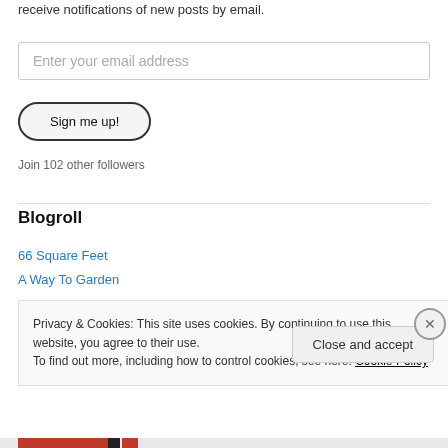receive notifications of new posts by email.
Enter your email address
Sign me up!
Join 102 other followers
Blogroll
66 Square Feet
A Way To Garden
Privacy & Cookies: This site uses cookies. By continuing to use this website, you agree to their use.
To find out more, including how to control cookies, see here: Cookie Policy
Close and accept